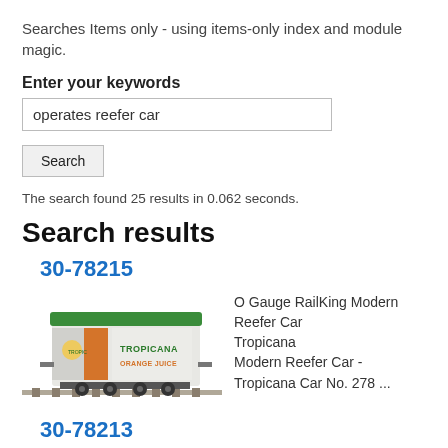Searches Items only - using items-only index and module magic.
Enter your keywords
operates reefer car
Search
The search found 25 results in 0.062 seconds.
Search results
30-78215
[Figure (photo): O Gauge model train reefer car with Tropicana Orange Juice branding, white car with green roof and orange door, on track.]
O Gauge RailKing Modern Reefer Car Tropicana Modern Reefer Car - Tropicana Car No. 278 ...
30-78213